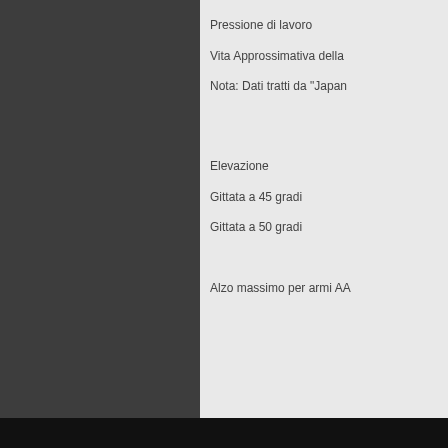[Figure (screenshot): Screenshot of a webpage with a dark background on the left side and light content area on the right showing Italian text about artillery specifications (Pressione di lavoro, Vita Approssimativa della, Nota: Dati tratti da 'Japan', Elevazione, Gittata a 45 gradi, Gittata a 50 gradi, Alzo massimo per armi AA). A cookie consent banner overlays the bottom portion: 'Questo sito fa uso di cookie al fine di consentire agli Utenti la fruizione di tutti i contenuti. I dati raccolti non vengono usati a scopo di profilazione né ceduti a terzi.' with a link 'Per saperne di più' and button 'Ok, proseguo!']